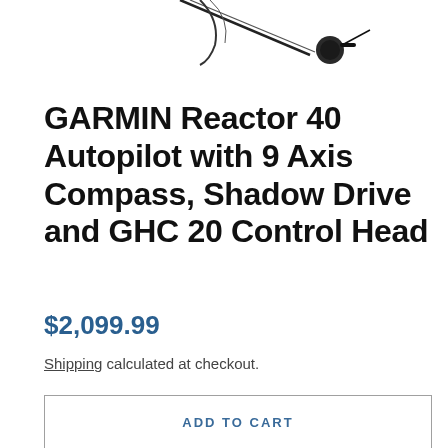[Figure (photo): Partial top portion of a Garmin autopilot product image showing cables and a connector against a white background]
GARMIN Reactor 40 Autopilot with 9 Axis Compass, Shadow Drive and GHC 20 Control Head
$2,099.99
Shipping calculated at checkout.
ADD TO CART